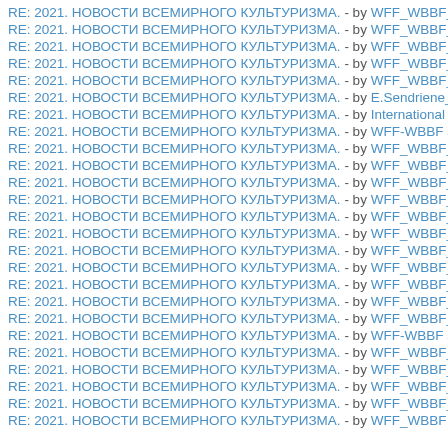RE: 2021. НОВОСТИ ВСЕМИРНОГО КУЛЬТУРИЗМА. - by WFF_WBBF_C
RE: 2021. НОВОСТИ ВСЕМИРНОГО КУЛЬТУРИЗМА. - by WFF_WBBF_C
RE: 2021. НОВОСТИ ВСЕМИРНОГО КУЛЬТУРИЗМА. - by WFF_WBBF_C
RE: 2021. НОВОСТИ ВСЕМИРНОГО КУЛЬТУРИЗМА. - by WFF_WBBF_C
RE: 2021. НОВОСТИ ВСЕМИРНОГО КУЛЬТУРИЗМА. - by WFF_WBBF_C
RE: 2021. НОВОСТИ ВСЕМИРНОГО КУЛЬТУРИЗМА. - by E.Sendriene_V
RE: 2021. НОВОСТИ ВСЕМИРНОГО КУЛЬТУРИЗМА. - by International Se
RE: 2021. НОВОСТИ ВСЕМИРНОГО КУЛЬТУРИЗМА. - by WFF-WBBF se
RE: 2021. НОВОСТИ ВСЕМИРНОГО КУЛЬТУРИЗМА. - by WFF_WBBF_C
RE: 2021. НОВОСТИ ВСЕМИРНОГО КУЛЬТУРИЗМА. - by WFF_WBBF_C
RE: 2021. НОВОСТИ ВСЕМИРНОГО КУЛЬТУРИЗМА. - by WFF_WBBF_C
RE: 2021. НОВОСТИ ВСЕМИРНОГО КУЛЬТУРИЗМА. - by WFF_WBBF_C
RE: 2021. НОВОСТИ ВСЕМИРНОГО КУЛЬТУРИЗМА. - by WFF_WBBF_C
RE: 2021. НОВОСТИ ВСЕМИРНОГО КУЛЬТУРИЗМА. - by WFF_WBBF_C
RE: 2021. НОВОСТИ ВСЕМИРНОГО КУЛЬТУРИЗМА. - by WFF_WBBF_C
RE: 2021. НОВОСТИ ВСЕМИРНОГО КУЛЬТУРИЗМА. - by WFF_WBBF_C
RE: 2021. НОВОСТИ ВСЕМИРНОГО КУЛЬТУРИЗМА. - by WFF_WBBF_C
RE: 2021. НОВОСТИ ВСЕМИРНОГО КУЛЬТУРИЗМА. - by WFF_WBBF_C
RE: 2021. НОВОСТИ ВСЕМИРНОГО КУЛЬТУРИЗМА. - by WFF_WBBF_C
RE: 2021. НОВОСТИ ВСЕМИРНОГО КУЛЬТУРИЗМА. - by WFF-WBBF se
RE: 2021. НОВОСТИ ВСЕМИРНОГО КУЛЬТУРИЗМА. - by WFF_WBBF_C
RE: 2021. НОВОСТИ ВСЕМИРНОГО КУЛЬТУРИЗМА. - by WFF_WBBF_C
RE: 2021. НОВОСТИ ВСЕМИРНОГО КУЛЬТУРИЗМА. - by WFF_WBBF_C
RE: 2021. НОВОСТИ ВСЕМИРНОГО КУЛЬТУРИЗМА. - by WFF_WBBF_C
RE: 2021. НОВОСТИ ВСЕМИРНОГО КУЛЬТУРИЗМА. - by WFF_WBBF